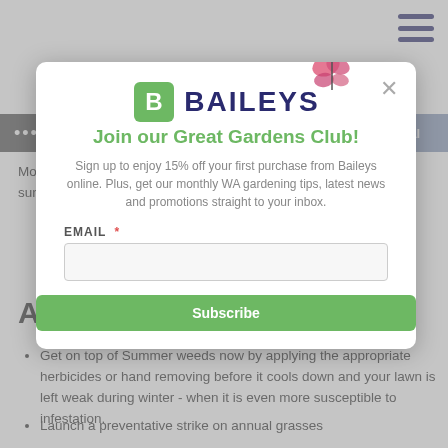Baileys - Great Gardens Club popup
Mowing your lawn a little longer in Autumn helps it absorb more sunlight, and protects it from the cooler weather.
Attack Weeds
Get on top of Summer weeds now by applying the appropriate herbicides or hand removing before it cools down and your lawn is left weak during winter - when it is even more susceptible to infestation.
Launch a preventative strike on annual grasses
[Figure (screenshot): Modal popup overlay for Baileys 'Join our Great Gardens Club!' newsletter signup. Contains logo with butterfly, heading, subtext about 15% off first purchase and gardening tips, email field with asterisk, and green Subscribe button.]